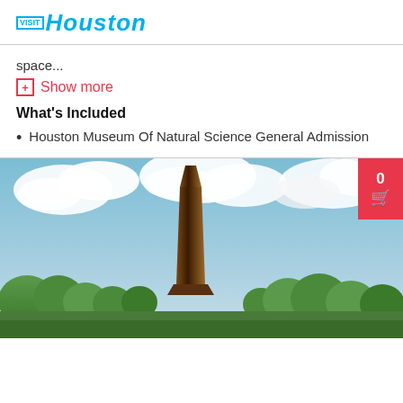VISIT Houston
space...
Show more
What's Included
Houston Museum Of Natural Science General Admission
[Figure (photo): Outdoor photo of a tall angular obelisk sculpture against a blue sky with clouds, surrounded by green trees]